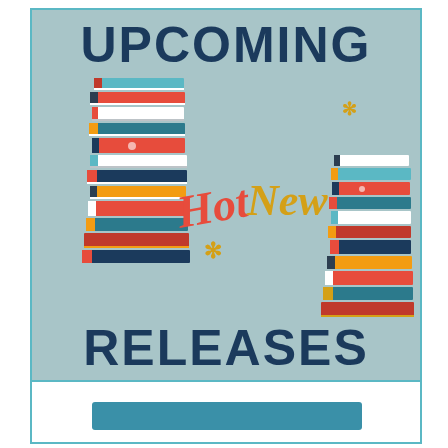[Figure (illustration): Promotional poster with light teal/sage background showing stacks of colorful books on left and right sides. Large bold dark navy text reading 'UPCOMING' at top and 'RELEASES' at bottom. Decorative script text 'Hot New' in red and gold cursive lettering in the center. Gold asterisk/star decorations scattered around.]
[Figure (illustration): Partial view of a second box at the bottom of the page with a teal border and a teal horizontal bar inside, cut off at bottom of page.]